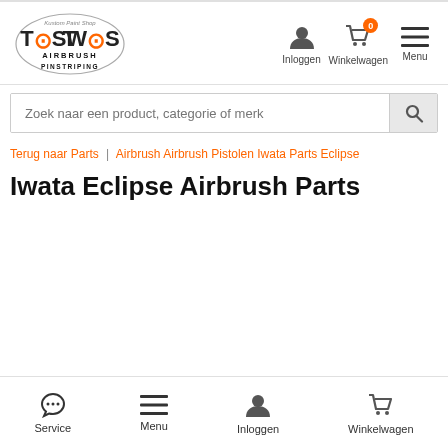[Figure (logo): Toswos Kustom Paint Shop Airbrush Pinstriping logo with orange and black text]
Inloggen | Winkelwagen 0 | Menu
Zoek naar een product, categorie of merk
Terug naar Parts | Airbrush Airbrush Pistolen Iwata Parts Eclipse
Iwata Eclipse Airbrush Parts
Service | Menu | Inloggen | Winkelwagen